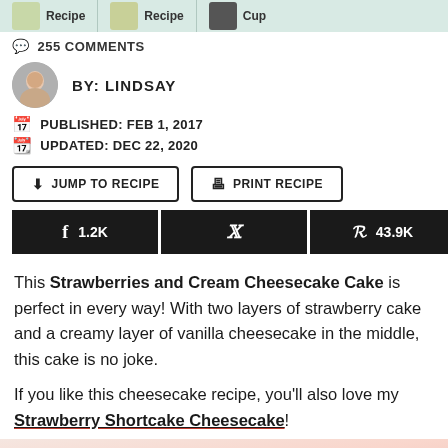Recipe  Recipe  Cup
255 COMMENTS
BY: LINDSAY
PUBLISHED: FEB 1, 2017
UPDATED: DEC 22, 2020
JUMP TO RECIPE   PRINT RECIPE
f 1.2K   [twitter]   p 43.9K   45 SHARES
This Strawberries and Cream Cheesecake Cake is perfect in every way! With two layers of strawberry cake and a creamy layer of vanilla cheesecake in the middle, this cake is no joke.
If you like this cheesecake recipe, you’ll also love my Strawberry Shortcake Cheesecake!
[Figure (photo): Bottom portion of a strawberries and cream cheesecake photo, showing pink/cream tones]